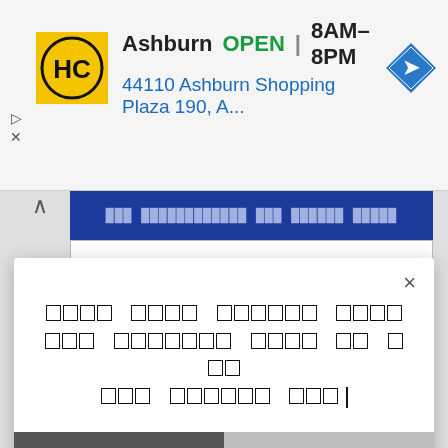[Figure (screenshot): Ad banner showing HC logo, Ashburn store info: OPEN 8AM-8PM, address 44110 Ashburn Shopping Plaza 190, A..., navigation icon, with ad controls (triangle and X icons)]
[Figure (screenshot): Blue banner strip with dotted/encoded text and white input bar below]
[Figure (screenshot): Modal dialog with close X button, Hindi/Devanagari script text in bold boxes, Join Telegram button, and AddThis branding at bottom right]